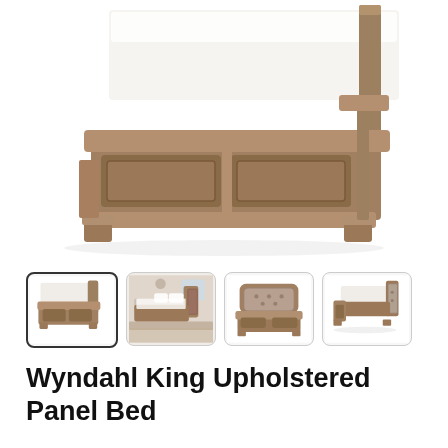[Figure (photo): Main product photo of the Wyndahl King Upholstered Panel Bed showing a wooden bed frame with two panel footboard sections, white bedding visible, shot from a front-angled perspective on a white background.]
[Figure (photo): Thumbnail 1 (selected): Side-angle view of bed frame with upholstered headboard, no bedding fully shown.]
[Figure (photo): Thumbnail 2: Room setting showing the bed with upholstered headboard, bedding, and bedroom decor.]
[Figure (photo): Thumbnail 3: Front-facing view of the bed's upholstered headboard and footboard.]
[Figure (photo): Thumbnail 4: Side-angled view of the bed showing footboard and side rail detail.]
Wyndahl King Upholstered Panel Bed